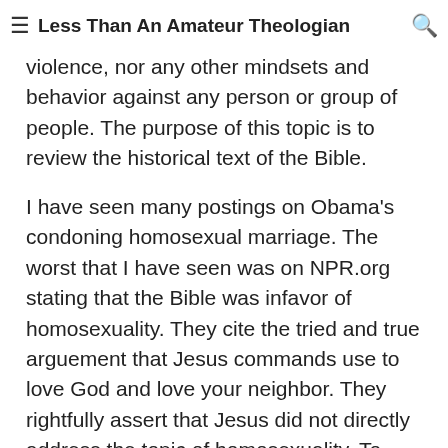≡ Less Than An Amateur Theologian 🔍
does not condone discrimination, hatred, violence, nor any other mindsets and behavior against any person or group of people. The purpose of this topic is to review the historical text of the Bible.
I have seen many postings on Obama's condoning homosexual marriage. The worst that I have seen was on NPR.org stating that the Bible was infavor of homosexuality. They cite the tried and true arguement that Jesus commands use to love God and love your neighbor. They rightfully assert that Jesus did not directly address the topic of homosexuality. To this, I have the following to say.